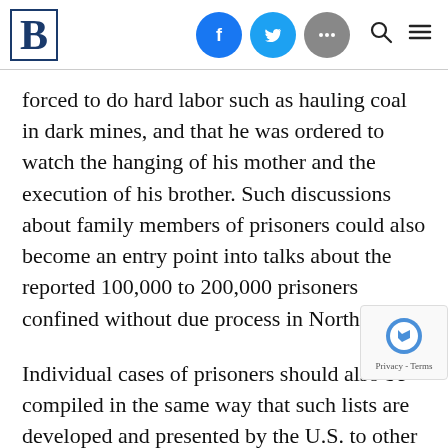B [logo] [Facebook icon] [Twitter icon] [More icon] [Search icon] [Menu icon]
forced to do hard labor such as hauling coal in dark mines, and that he was ordered to watch the hanging of his mother and the execution of his brother. Such discussions about family members of prisoners could also become an entry point into talks about the reported 100,000 to 200,000 prisoners confined without due process in North Korea.
Individual cases of prisoners should also be compiled in the same way that such lists are developed and presented by the U.S. to other governments. Of course identifying cases will challenging, and the security of doing so must be